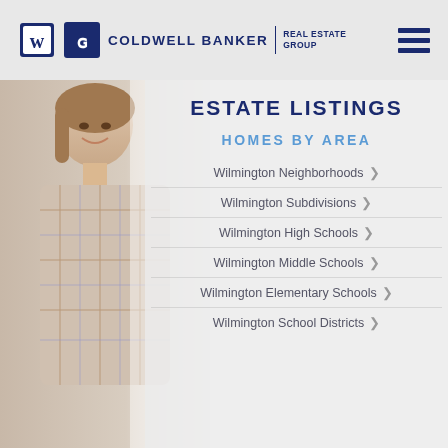COLDWELL BANKER | REAL ESTATE GROUP
ESTATE LISTINGS
HOMES BY AREA
Wilmington Neighborhoods >
Wilmington Subdivisions >
Wilmington High Schools >
Wilmington Middle Schools >
Wilmington Elementary Schools >
Wilmington School Districts >
[Figure (photo): Woman smiling, wearing a plaid shirt, standing against a light background — used as decorative left-side background image]